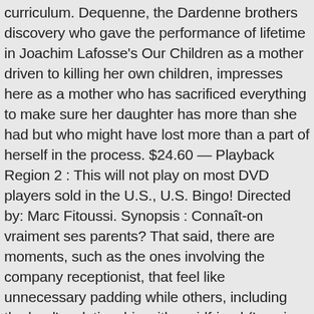curriculum. Dequenne, the Dardenne brothers discovery who gave the performance of lifetime in Joachim Lafosse's Our Children as a mother driven to killing her own children, impresses here as a mother who has sacrificed everything to make sure her daughter has more than she had but who might have lost more than a part of herself in the process. $24.60 — Playback Region 2 : This will not play on most DVD players sold in the U.S., U.S. Bingo! Directed by: Marc Fitoussi. Synopsis : Connaît-on vraiment ses parents? That said, there are moments, such as the ones involving the company receptionist, that feel like unnecessary padding while others, including the lead's relationship with a girlfriend (Louvia Bachelier) who lives in the same building, feel a tad underdeveloped and convenient. Terms of Use | With the film set in the dark and cold days before Christmas, this thought shocks Anouk, who wants to help the young mother any way a naive and idealistic 14-year-old can. This will not play on most DVD players sold in the U.S., U.S. 3.5 out of 5 stars 3 ratings. Il oppose la jeune Jeanne Jestin (découverte